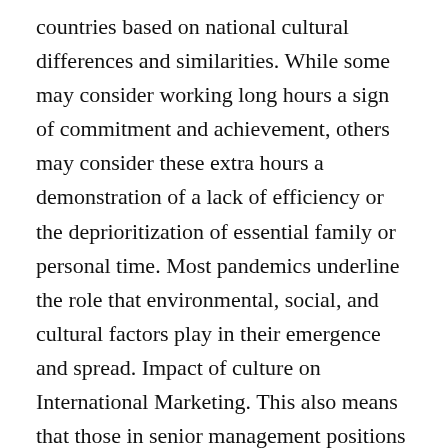countries based on national cultural differences and similarities. While some may consider working long hours a sign of commitment and achievement, others may consider these extra hours a demonstration of a lack of efficiency or the deprioritization of essential family or personal time. Most pandemics underline the role that environmental, social, and cultural factors play in their emergence and spread. Impact of culture on International Marketing. This also means that those in senior management positions command respect and expect a certain level of formality and deference from junior team members. They used an eclectic approach that combines several sources of data, which include surveys, actual published With the opportunity to study alongside peers from all corners of the globe, building cross-cultural communication skills is at the core of our business programs. It's clear that the cultural differences across the world offer us a role that these elements are our civic...